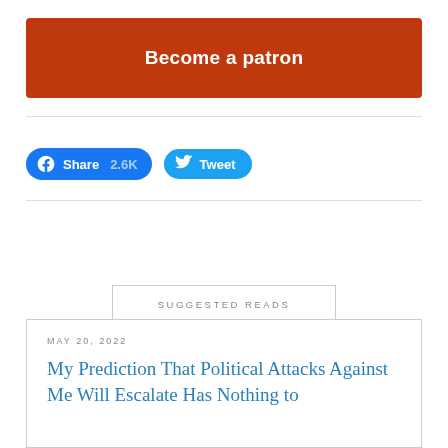[Figure (other): Orange 'Become a patron' button]
[Figure (other): Facebook Share 2.6K and Twitter Tweet social sharing buttons]
SUGGESTED READS
MAY 20, 2022
My Prediction That Political Attacks Against Me Will Escalate Has Nothing to